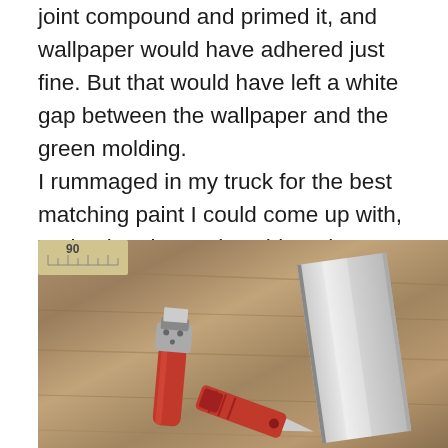joint compound and primed it, and wallpaper would have adhered just fine. But that would have left a white gap between the wallpaper and the green molding. I rummaged in my truck for the best matching paint I could come up with, and painted over the white edge. This would have left a bit of a thin brown line between the wallpaper and the green molding. It would have looked OK, but I had an idea to get rid of the gap altogether.
[Figure (photo): Tools on a wooden surface: a scraper with red handle, a utility knife with red handle, and a wide metal putty knife or blade, with a ruler visible at the top edge.]